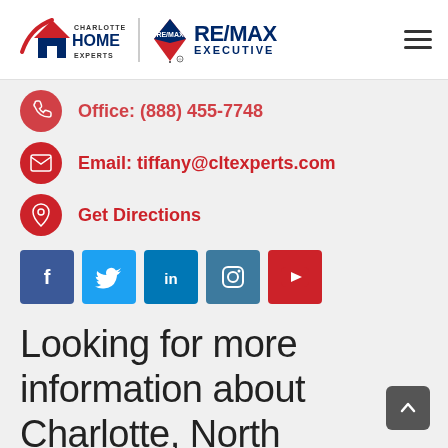[Figure (logo): Charlotte Home Experts and RE/MAX Executive logos with hamburger menu]
Office: (888) 455-7748
Email: tiffany@cltexperts.com
Get Directions
[Figure (infographic): Social media icons: Facebook, Twitter, LinkedIn, Instagram, YouTube]
Looking for more information about Charlotte, North Carolina?